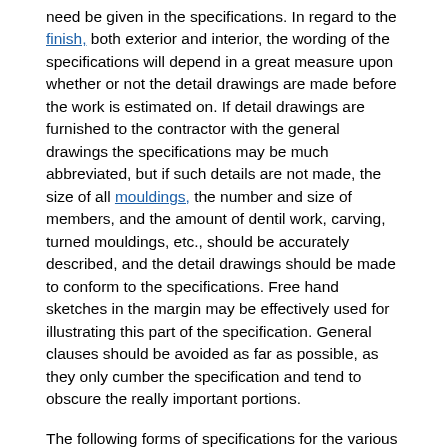need be given in the specifications. In regard to the finish, both exterior and interior, the wording of the specifications will depend in a great measure upon whether or not the detail drawings are made before the work is estimated on. If detail drawings are furnished to the contractor with the general drawings the specifications may be much abbreviated, but if such details are not made, the size of all mouldings, the number and size of members, and the amount of dentil work, carving, turned mouldings, etc., should be accurately described, and the detail drawings should be made to conform to the specifications. Free hand sketches in the margin may be effectively used for illustrating this part of the specification. General clauses should be avoided as far as possible, as they only cumber the specification and tend to obscure the really important portions.
The following forms of specifications for the various kinds of work generally included in the carpenter's contract are given merely as a guide or reminder to architects, and not always to be copied literally.* Figures or words enclosed in ( ) may be changed to suit special or local conditions or the preference of the architect, or are suggested in place of the preceding word or words.